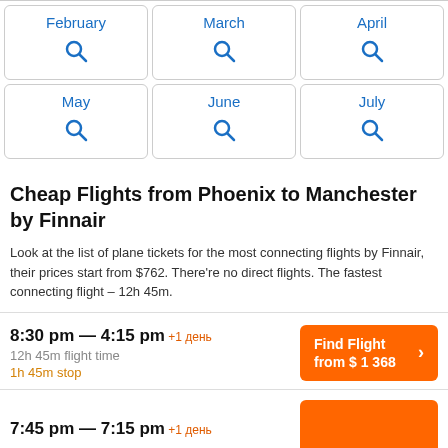[Figure (screenshot): Month selection grid row 1: February, March, April with search icons]
[Figure (screenshot): Month selection grid row 2: May, June, July with search icons]
Cheap Flights from Phoenix to Manchester by Finnair
Look at the list of plane tickets for the most connecting flights by Finnair, their prices start from $762. There're no direct flights. The fastest connecting flight – 12h 45m.
8:30 pm — 4:15 pm +1 день
12h 45m flight time
1h 45m stop
Find Flight from $ 1 368
7:45 pm — 7:15 pm +1 день